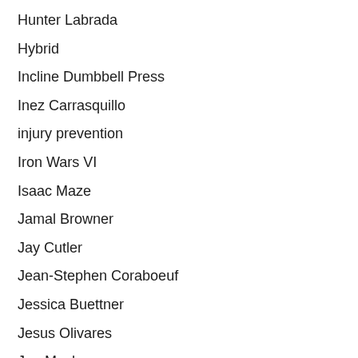Hunter Labrada
Hybrid
Incline Dumbbell Press
Inez Carrasquillo
injury prevention
Iron Wars VI
Isaac Maze
Jamal Browner
Jay Cutler
Jean-Stephen Coraboeuf
Jessica Buettner
Jesus Olivares
Joe Mackey